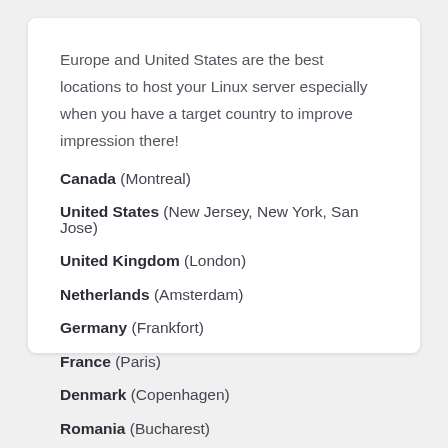Europe and United States are the best locations to host your Linux server especially when you have a target country to improve impression there!
Canada (Montreal)
United States (New Jersey, New York, San Jose)
United Kingdom (London)
Netherlands (Amsterdam)
Germany (Frankfort)
France (Paris)
Denmark (Copenhagen)
Romania (Bucharest)